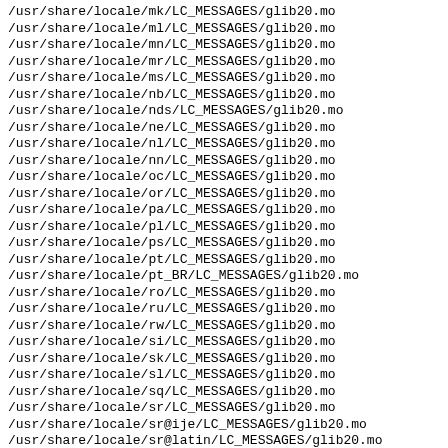/usr/share/locale/mk/LC_MESSAGES/glib20.mo
/usr/share/locale/ml/LC_MESSAGES/glib20.mo
/usr/share/locale/mn/LC_MESSAGES/glib20.mo
/usr/share/locale/mr/LC_MESSAGES/glib20.mo
/usr/share/locale/ms/LC_MESSAGES/glib20.mo
/usr/share/locale/nb/LC_MESSAGES/glib20.mo
/usr/share/locale/nds/LC_MESSAGES/glib20.mo
/usr/share/locale/ne/LC_MESSAGES/glib20.mo
/usr/share/locale/nl/LC_MESSAGES/glib20.mo
/usr/share/locale/nn/LC_MESSAGES/glib20.mo
/usr/share/locale/oc/LC_MESSAGES/glib20.mo
/usr/share/locale/or/LC_MESSAGES/glib20.mo
/usr/share/locale/pa/LC_MESSAGES/glib20.mo
/usr/share/locale/pl/LC_MESSAGES/glib20.mo
/usr/share/locale/ps/LC_MESSAGES/glib20.mo
/usr/share/locale/pt/LC_MESSAGES/glib20.mo
/usr/share/locale/pt_BR/LC_MESSAGES/glib20.mo
/usr/share/locale/ro/LC_MESSAGES/glib20.mo
/usr/share/locale/ru/LC_MESSAGES/glib20.mo
/usr/share/locale/rw/LC_MESSAGES/glib20.mo
/usr/share/locale/si/LC_MESSAGES/glib20.mo
/usr/share/locale/sk/LC_MESSAGES/glib20.mo
/usr/share/locale/sl/LC_MESSAGES/glib20.mo
/usr/share/locale/sq/LC_MESSAGES/glib20.mo
/usr/share/locale/sr/LC_MESSAGES/glib20.mo
/usr/share/locale/sr@ije/LC_MESSAGES/glib20.mo
/usr/share/locale/sr@latin/LC_MESSAGES/glib20.mo
/usr/share/locale/sv/LC_MESSAGES/glib20.mo
/usr/share/locale/ta/LC_MESSAGES/glib20.mo
/usr/share/locale/te/LC_MESSAGES/glib20.mo